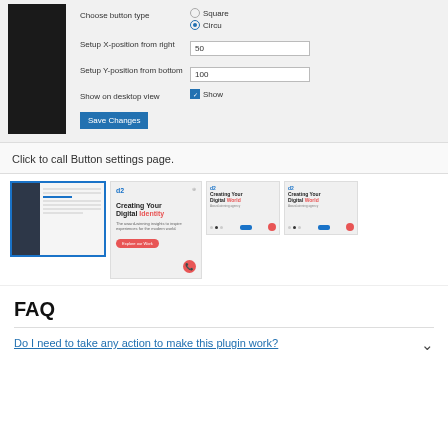[Figure (screenshot): Settings panel with black sidebar, radio buttons for Square/Circu, X-position from right input (50), Y-position from bottom input (100), Show on desktop view checkbox, and Save Changes button]
Click to call Button settings page.
[Figure (screenshot): Four plugin screenshots showing admin panel and mobile preview with Creating Your Digital Identity design]
FAQ
Do I need to take any action to make this plugin work?